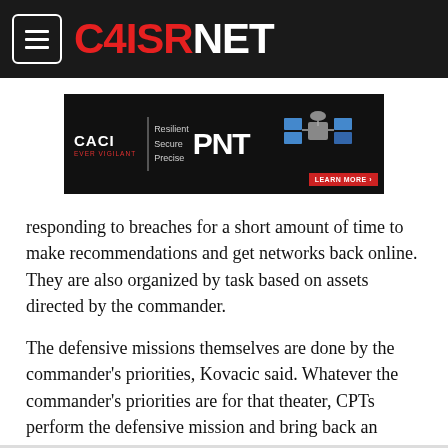C4ISRNET
[Figure (other): CACI advertisement banner: 'Resilient Secure Precise PNT' with satellite image and LEARN MORE button]
responding to breaches for a short amount of time to make recommendations and get networks back online. They are also organized by task based on assets directed by the commander.
The defensive missions themselves are done by the commander's priorities, Kovacic said. Whatever the commander's priorities are for that theater, CPTs perform the defensive mission and bring back an assessment. This was the case when the CPTs were